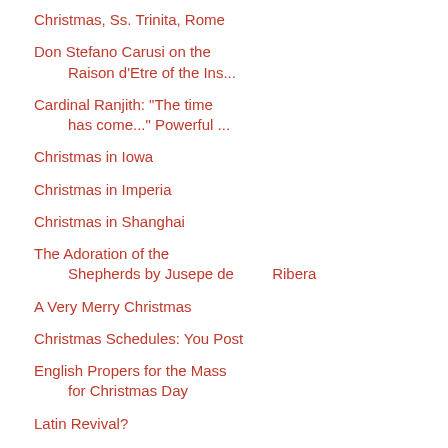Christmas, Ss. Trinita, Rome
Don Stefano Carusi on the Raison d'Etre of the Ins...
Cardinal Ranjith: "The time has come..." Powerful ...
Christmas in Iowa
Christmas in Imperia
Christmas in Shanghai
The Adoration of the Shepherds by Jusepe de Ribera
A Very Merry Christmas
Christmas Schedules: You Post
English Propers for the Mass for Christmas Day
Latin Revival?
Dominican Chant for ...